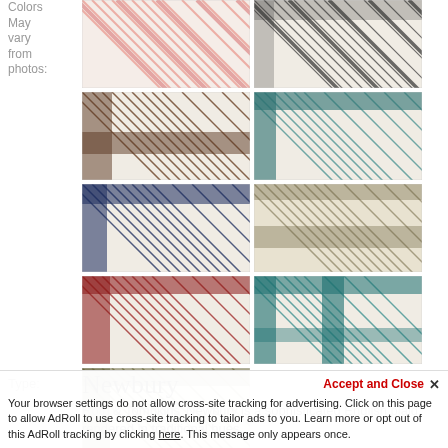Colors May vary from photos:
[Figure (photo): Grid of fabric swatches showing Newbury plaid pattern in various colorways: pink/cream, black/cream, brown/cream, teal/cream, navy/cream, olive/cream, red/cream, teal/cream, olive/cream]
Type:
Newbury
Roth & Tompkins' Newbury is a sophisticated English plaid, rendered in traditional hues.
Accept and Close ✕ Your browser settings do not allow cross-site tracking for advertising. Click on this page to allow AdRoll to use cross-site tracking to tailor ads to you. Learn more or opt out of this AdRoll tracking by clicking here. This message only appears once.